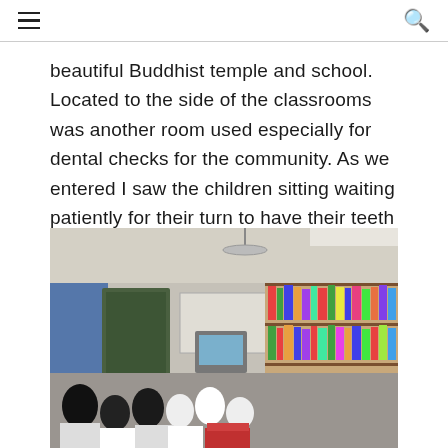☰ 🔍
beautiful Buddhist temple and school. Located to the side of the classrooms was another room used especially for dental checks for the community. As we entered I saw the children sitting waiting patiently for their turn to have their teeth checked.
[Figure (photo): Interior of a classroom/community room at a Buddhist temple school. Children sit facing a small CRT television. Behind them are bookshelves filled with books/materials on the right side. A blue curtain and green doorway are visible on the left. A ceiling fan hangs from the ceiling.]